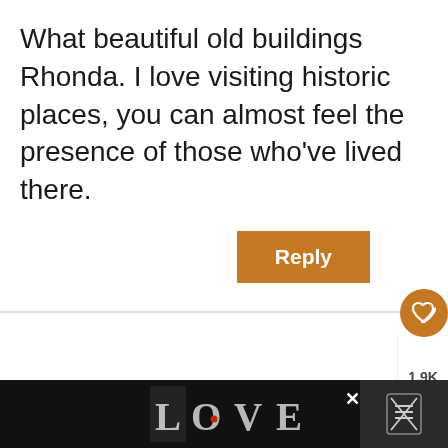What beautiful old buildings Rhonda. I love visiting historic places, you can almost feel the presence of those who've lived there.
Reply
1.9K
Amy
September 3, 2016 at 10:53 am
keep up with posting photos of Northland. nice to see 🙂
[Figure (screenshot): WHAT'S NEXT arrow label with Mission Bay Auckland: a... thumbnail showing a scenic bay photo with circular avatar]
[Figure (illustration): Advertisement banner at bottom of page showing decorative LOVE text logo in black and white ornate style, with X close button on right]